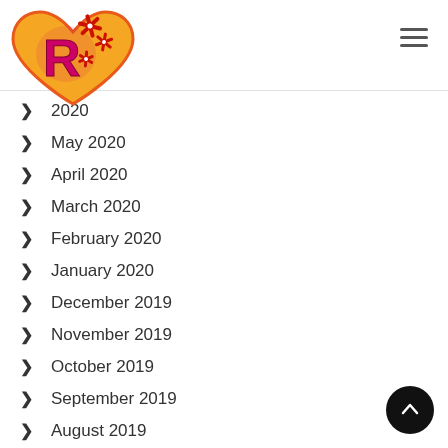[Figure (logo): Heart-shaped logo with an orange/red heart, a pink 'R' letter inside, and red poinsettia flowers, on a white background]
2020
May 2020
April 2020
March 2020
February 2020
January 2020
December 2019
November 2019
October 2019
September 2019
August 2019